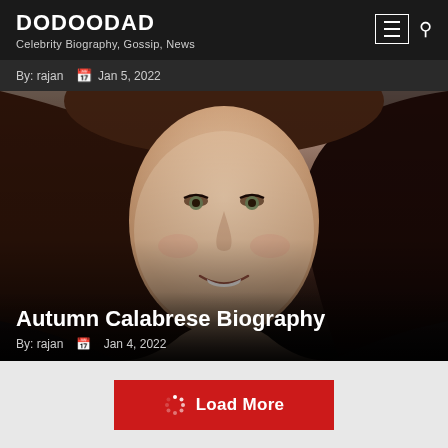DODOODAD — Celebrity Biography, Gossip, News
By: rajan  Jan 5, 2022
[Figure (photo): Portrait photo of Autumn Calabrese, a woman with long dark brown hair, smiling, against a dark background. Hero image for biography article.]
Autumn Calabrese Biography
By: rajan  Jan 4, 2022
Load More